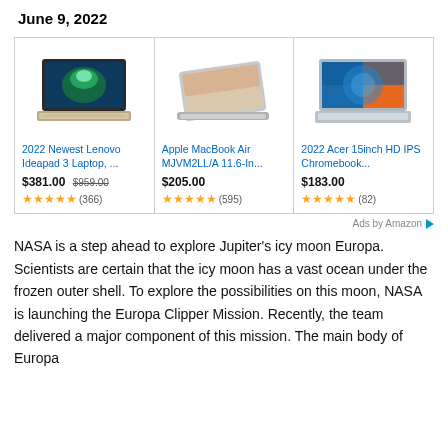June 9, 2022
[Figure (screenshot): Amazon ad banner with three laptop products: 2022 Newest Lenovo Ideapad 3 Laptop $381.00 (was $959.00) 4.5 stars (366); Apple MacBook Air MJVM2LL/A 11.6-In... $205.00 4.5 stars (595); 2022 Acer 15inch HD IPS Chromebook... $183.00 4.5 stars (82)]
Ads by Amazon
NASA is a step ahead to explore Jupiter's icy moon Europa. Scientists are certain that the icy moon has a vast ocean under the frozen outer shell. To explore the possibilities on this moon, NASA is launching the Europa Clipper Mission. Recently, the team delivered a major component of this mission. The main body of Europa